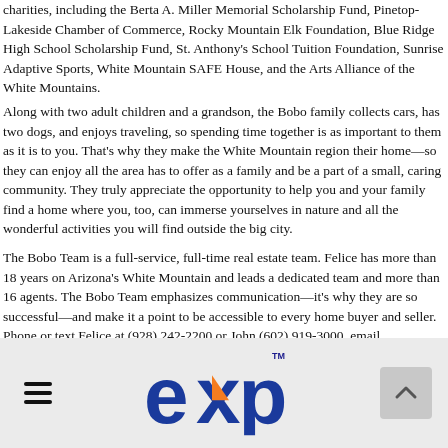charities, including the Berta A. Miller Memorial Scholarship Fund, Pinetop-Lakeside Chamber of Commerce, Rocky Mountain Elk Foundation, Blue Ridge High School Scholarship Fund, St. Anthony's School Tuition Foundation, Sunrise Adaptive Sports, White Mountain SAFE House, and the Arts Alliance of the White Mountains.
Along with two adult children and a grandson, the Bobo family collects cars, has two dogs, and enjoys traveling, so spending time together is as important to them as it is to you. That's why they make the White Mountain region their home—so they can enjoy all the area has to offer as a family and be a part of a small, caring community. They truly appreciate the opportunity to help you and your family find a home where you, too, can immerse yourselves in nature and all the wonderful activities you will find outside the big city.
The Bobo Team is a full-service, full-time real estate team. Felice has more than 18 years on Arizona's White Mountain and leads a dedicated team and more than 16 agents. The Bobo Team emphasizes communication—it's why they are so successful—and make it a point to be accessible to every home buyer and seller. Phone or text Felice at (928) 242-2200 or John (602) 919-3000, email felice@theboboteam.com or john@theboboteam.com. Email or call us anytime to start the process and give us the opportunity to make your new home dreams come true!
[Figure (logo): eXp Realty logo with orange and blue lettering and TM mark]